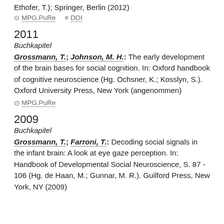Ethofer, T.); Springer, Berlin (2012)
⊙ MPG.PuRe  ≡ DOI
2011
Buchkapitel
Grossmann, T.; Johnson, M. H.: The early development of the brain bases for social cognition. In: Oxford handbook of cognitive neuroscience (Hg. Ochsner, K.; Kosslyn, S.). Oxford University Press, New York (angenommen)
⊙ MPG.PuRe
2009
Buchkapitel
Grossmann, T.; Farroni, T.: Decoding social signals in the infant brain: A look at eye gaze perception. In: Handbook of Developmental Social Neuroscience, S. 87 - 106 (Hg. de Haan, M.; Gunnar, M. R.). Guilford Press, New York, NY (2009)